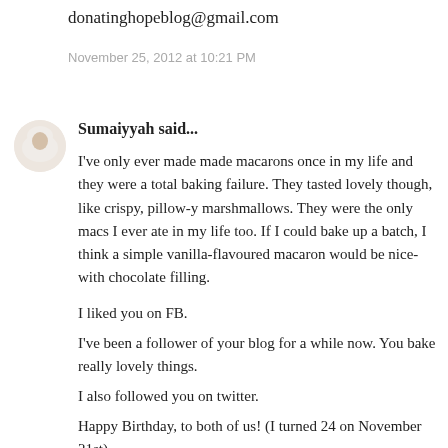donatinghopeblog@gmail.com
November 25, 2012 at 10:21 PM
[Figure (illustration): Circular avatar image of a person wearing a white hijab]
Sumaiyyah said...
I've only ever made made macarons once in my life and they were a total baking failure. They tasted lovely though, like crispy, pillow-y marshmallows. They were the only macs I ever ate in my life too. If I could bake up a batch, I think a simple vanilla-flavoured macaron would be nice- with chocolate filling.
I liked you on FB.
I've been a follower of your blog for a while now. You bake really lovely things.
I also followed you on twitter.
Happy Birthday, to both of us! (I turned 24 on November 21st)